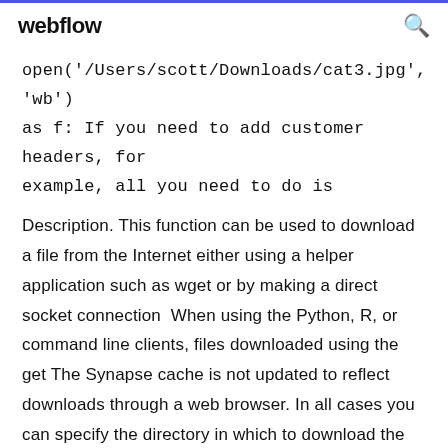webflow
open('/Users/scott/Downloads/cat3.jpg', 'wb') as f: If you need to add customer headers, for example, all you need to do is
Description. This function can be used to download a file from the Internet either using a helper application such as wget or by making a direct socket connection  When using the Python, R, or command line clients, files downloaded using the get The Synapse cache is not updated to reflect downloads through a web browser. In all cases you can specify the directory in which to download the file. This is a wrapper for download.file and takes all the